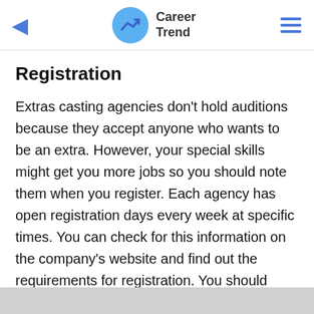Career Trend
Registration
Extras casting agencies don't hold auditions because they accept anyone who wants to be an extra. However, your special skills might get you more jobs so you should note them when you register. Each agency has open registration days every week at specific times. You can check for this information on the company's website and find out the requirements for registration. You should arrive with a picture ID. The agency might have guidelines for your appearance. For instance, some require